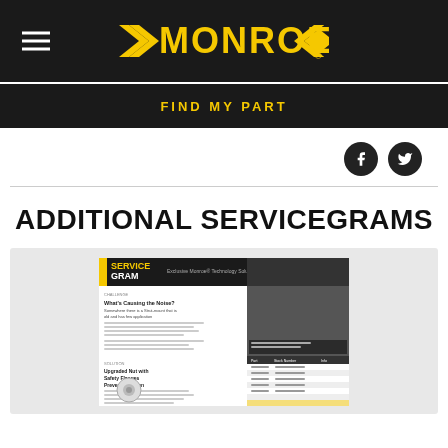Monroe logo header with hamburger menu
FIND MY PART
[Figure (screenshot): Social media icons: Facebook and Twitter circular buttons]
ADDITIONAL SERVICEGRAMS
[Figure (screenshot): Preview thumbnail of a Monroe Servicegram document showing service information, text columns, and a data table with part numbers]